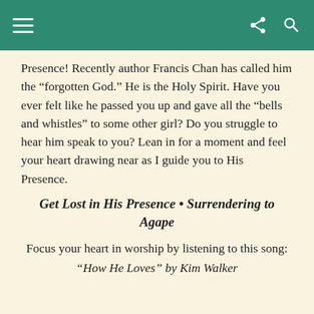Presence! Recently author Francis Chan has called him the “forgotten God.” He is the Holy Spirit. Have you ever felt like he passed you up and gave all the “bells and whistles” to some other girl? Do you struggle to hear him speak to you? Lean in for a moment and feel your heart drawing near as I guide you to His Presence.
Get Lost in His Presence • Surrendering to Agape
Focus your heart in worship by listening to this song:
“How He Loves” by Kim Walker